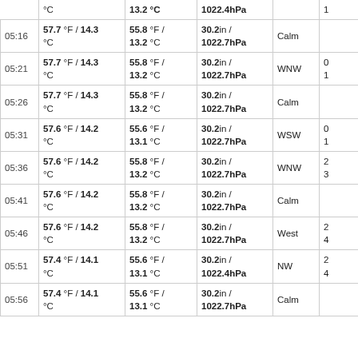| Time | Temp | Dew Point | Pressure | Wind Dir | Wind Speed |
| --- | --- | --- | --- | --- | --- |
|  | °C | 13.2 °C | 1022.4hPa |  | 1 |
| 05:16 | 57.7 °F / 14.3 °C | 55.8 °F / 13.2 °C | 30.2in / 1022.7hPa | Calm |  |
| 05:21 | 57.7 °F / 14.3 °C | 55.8 °F / 13.2 °C | 30.2in / 1022.7hPa | WNW | 0 1 |
| 05:26 | 57.7 °F / 14.3 °C | 55.8 °F / 13.2 °C | 30.2in / 1022.7hPa | Calm |  |
| 05:31 | 57.6 °F / 14.2 °C | 55.6 °F / 13.1 °C | 30.2in / 1022.7hPa | WSW | 0 1 |
| 05:36 | 57.6 °F / 14.2 °C | 55.8 °F / 13.2 °C | 30.2in / 1022.7hPa | WNW | 2 3 |
| 05:41 | 57.6 °F / 14.2 °C | 55.8 °F / 13.2 °C | 30.2in / 1022.7hPa | Calm |  |
| 05:46 | 57.6 °F / 14.2 °C | 55.8 °F / 13.2 °C | 30.2in / 1022.7hPa | West | 2 4 |
| 05:51 | 57.4 °F / 14.1 °C | 55.6 °F / 13.1 °C | 30.2in / 1022.4hPa | NW | 2 4 |
| 05:56 | 57.4 °F / 14.1 °C | 55.6 °F / 13.1 °C | 30.2in / 1022.7hPa | Calm |  |